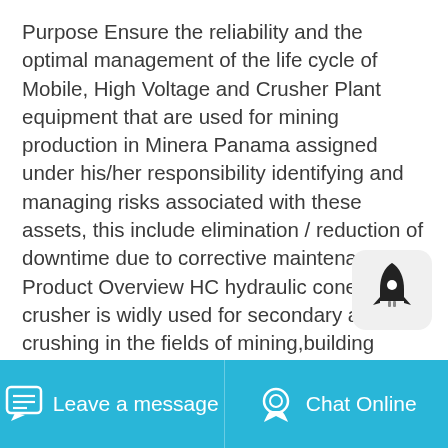Purpose Ensure the reliability and the optimal management of the life cycle of Mobile, High Voltage and Crusher Plant equipment that are used for mining production in Minera Panama assigned under his/her responsibility identifying and managing risks associated with these assets, this include elimination / reduction of downtime due to corrective maintenance. Product Overview HC hydraulic cone crusher is widly used for secondary and fine crushing in the fields of mining,building materials,metallurgy and so on.It can crush materials with middle and high hardness,such as ironstone,copper ore,granite,basalt,cobblestone,marble,limestone and so on.It is popular to be used in the high automatic crushing line which has strict
[Figure (logo): Rocket ship icon badge with white rocket on light gray rounded square background]
Leave a message   Chat Online